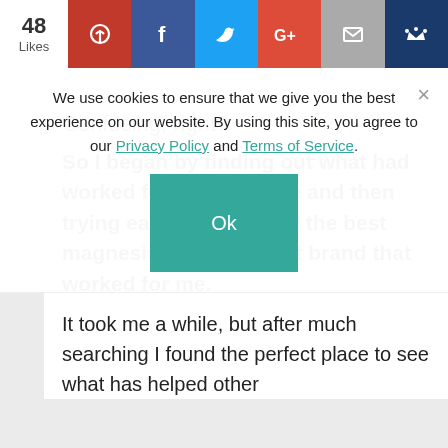48 Likes | Pinterest | Facebook | Twitter | Google+ | Email | Crown
We use cookies to ensure that we give you the best experience on our website. By using this site, you agree to our Privacy Policy and Terms of Service.
Ok
–
Confusing, right?
So I began by finding out what had worked for other people and then trying each until I found the best magnesium supplement brand that worked for me.
It took me a while, but after much searching I found the perfect place to see what has helped other